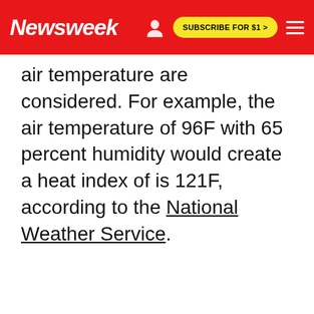Newsweek | SUBSCRIBE FOR $1 >
air temperature are considered. For example, the air temperature of 96F with 65 percent humidity would create a heat index of is 121F, according to the National Weather Service.